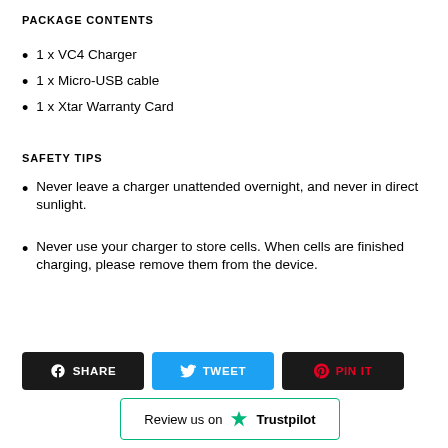PACKAGE CONTENTS
1 x VC4 Charger
1 x Micro-USB cable
1 x Xtar Warranty Card
SAFETY TIPS
Never leave a charger unattended overnight, and never in direct sunlight.
Never use your charger to store cells. When cells are finished charging, please remove them from the device.
[Figure (infographic): Three social sharing buttons: SHARE (Facebook, black), TWEET (Twitter, blue), PIN IT (Pinterest, black). Below, a Trustpilot review box with green star logo and text 'Review us on Trustpilot'.]